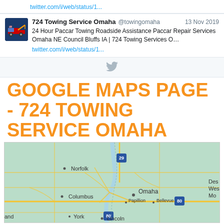twitter.com/i/web/status/1...
[Figure (screenshot): Twitter card showing 724 Towing Service Omaha tweet from @towingomaha dated 13 Nov 2019 with tow truck logo avatar]
724 Towing Service Omaha @towingomaha 13 Nov 2019 24 Hour Paccar Towing Roadside Assistance Paccar Repair Services Omaha NE Council Bluffs IA | 724 Towing Services O... twitter.com/i/web/status/1...
GOOGLE MAPS PAGE - 724 TOWING SERVICE OMAHA
[Figure (map): Google Maps showing Nebraska region with cities Norfolk, Columbus, Omaha, Papillion, Bellevue, Lincoln, York and highway markers I-29 and I-80]